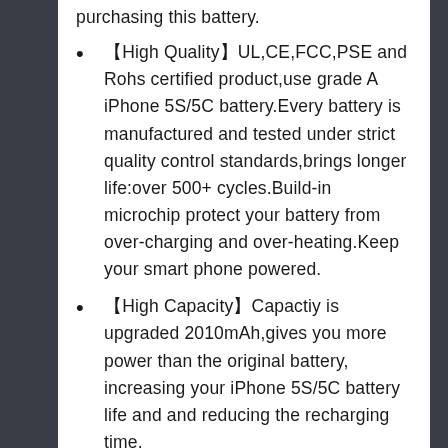purchasing this battery.
【High Quality】UL,CE,FCC,PSE and Rohs certified product,use grade A iPhone 5S/5C battery.Every battery is manufactured and tested under strict quality control standards,brings longer life:over 500+ cycles.Build-in microchip protect your battery from over-charging and over-heating.Keep your smart phone powered.
【High Capacity】Capactiy is upgraded 2010mAh,gives you more power than the original battery, increasing your iPhone 5S/5C battery life and and reducing the recharging time.
【Easy Installation】Our replacement battery